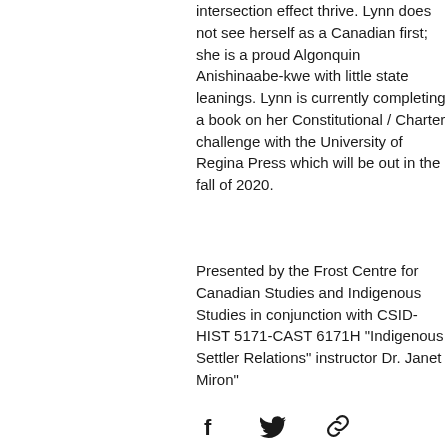intersection effect thrive. Lynn does not see herself as a Canadian first; she is a proud Algonquin Anishinaabe-kwe with little state leanings. Lynn is currently completing a book on her Constitutional / Charter challenge with the University of Regina Press which will be out in the fall of 2020.
Presented by the Frost Centre for Canadian Studies and Indigenous Studies in conjunction with CSID-HIST 5171-CAST 6171H "Indigenous Settler Relations" instructor Dr. Janet Miron"
[Figure (infographic): Row of three social share icons: Facebook (f), Twitter (bird), and a link/chain icon]